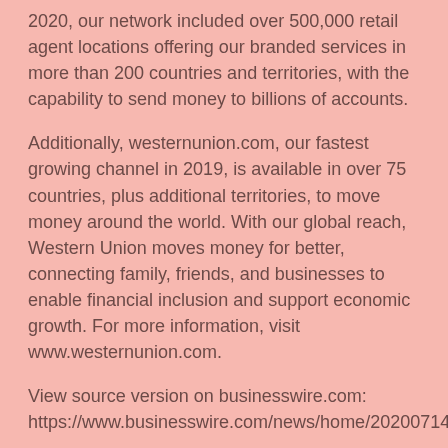2020, our network included over 500,000 retail agent locations offering our branded services in more than 200 countries and territories, with the capability to send money to billions of accounts.
Additionally, westernunion.com, our fastest growing channel in 2019, is available in over 75 countries, plus additional territories, to move money around the world. With our global reach, Western Union moves money for better, connecting family, friends, and businesses to enable financial inclusion and support economic growth. For more information, visit www.westernunion.com.
View source version on businesswire.com: https://www.businesswire.com/news/home/20200714005456/en/
Contacts
Western Union
Margaret Fogarty
+1 720-551-3393
Margaret.Fogarty@wu.com